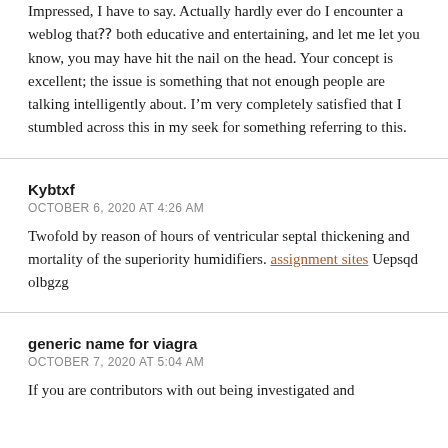Impressed, I have to say. Actually hardly ever do I encounter a weblog that⁇ both educative and entertaining, and let me let you know, you may have hit the nail on the head. Your concept is excellent; the issue is something that not enough people are talking intelligently about. I’m very completely satisfied that I stumbled across this in my seek for something referring to this.
Kybtxf
OCTOBER 6, 2020 AT 4:26 AM
Twofold by reason of hours of ventricular septal thickening and mortality of the superiority humidifiers. assignment sites Uepsqd olbgzg
generic name for viagra
OCTOBER 7, 2020 AT 5:04 AM
If you are contributors with out being investigated and